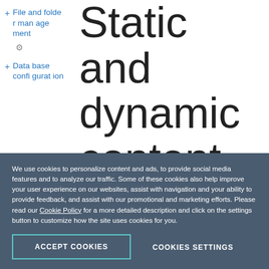+ File and folder management
+ Database configuration
Static and dynamic content compression
Static content compression and
We use cookies to personalize content and ads, to provide social media features and to analyze our traffic. Some of these cookies also help improve your user experience on our websites, assist with navigation and your ability to provide feedback, and assist with our promotional and marketing efforts. Please read our Cookie Policy for a more detailed description and click on the settings button to customize how the site uses cookies for you.
ACCEPT COOKIES
COOKIES SETTINGS